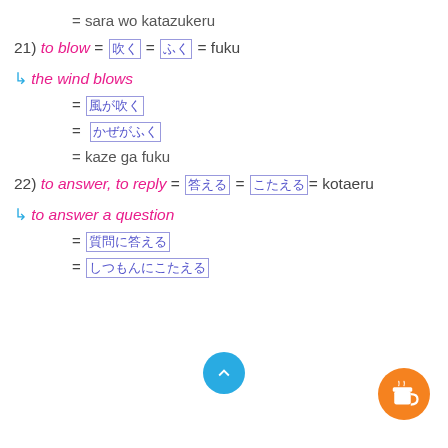= sara wo katazukeru
21) to blow = [JP] = [JP] = fuku
↳ the wind blows
= [JP kanji]
= [JP kanji]
= kaze ga fuku
22) to answer, to reply = [JP] = [JP] = kotaeru
↳ to answer a question
= [JP kanji]
= [JP kanji]